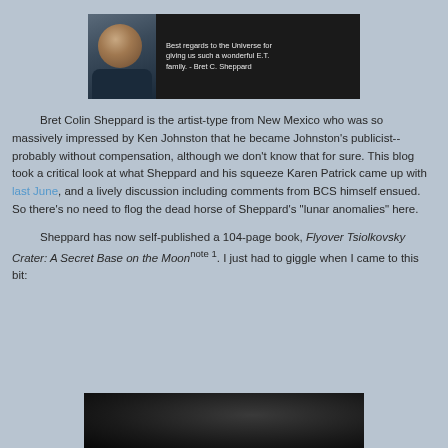[Figure (photo): Dark banner image showing a man with beard and glasses on the left, and text on dark background: 'Best regards to the Universe for giving us such a wonderful E.T. family. - Bret C. Sheppard']
Bret Colin Sheppard is the artist-type from New Mexico who was so massively impressed by Ken Johnston that he became Johnston's publicist--probably without compensation, although we don't know that for sure. This blog took a critical look at what Sheppard and his squeeze Karen Patrick came up with last June, and a lively discussion including comments from BCS himself ensued. So there's no need to flog the dead horse of Sheppard's "lunar anomalies" here.
Sheppard has now self-published a 104-page book, Flyover Tsiolkovsky Crater: A Secret Base on the Moon note 1. I just had to giggle when I came to this bit:
[Figure (photo): Dark image, partially visible at bottom of page, appears to be a book or document page]